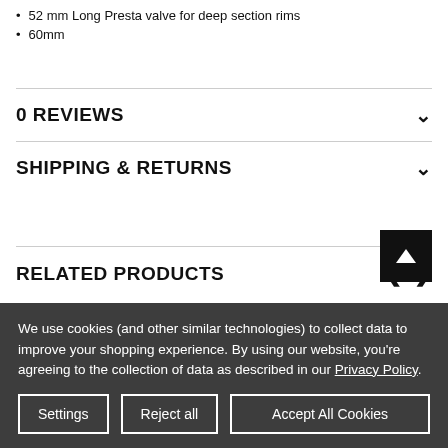52 mm Long Presta valve for deep section rims
60mm
0 REVIEWS
SHIPPING & RETURNS
RELATED PRODUCTS
We use cookies (and other similar technologies) to collect data to improve your shopping experience. By using our website, you're agreeing to the collection of data as described in our Privacy Policy.
Settings | Reject all | Accept All Cookies